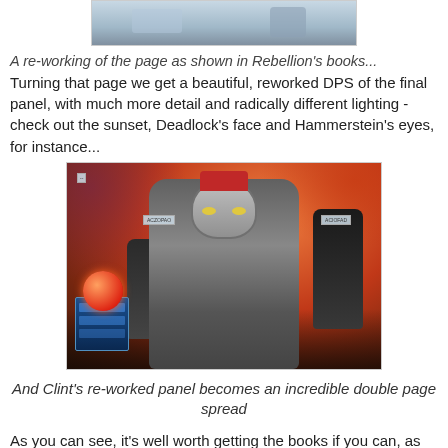[Figure (illustration): Top partial image cropped from above — comic book panel showing a wintry or icy scene with figures, partially visible.]
A re-working of the page as shown in Rebellion's books...
Turning that page we get a beautiful, reworked DPS of the final panel, with much more detail and radically different lighting - check out the sunset, Deadlock's face and Hammerstein's eyes, for instance...
[Figure (illustration): Reworked comic book double page spread showing armored robot characters (Hammerstein, Deadlock) in an intense battle scene with dramatic orange/red sunset lighting, explosions and smoke in background.]
And Clint's re-worked panel becomes an incredible double page spread
As you can see, it's well worth getting the books if you can, as reading them is a really different experience to the prog, well worth the money too! The ABCs at their digital best!